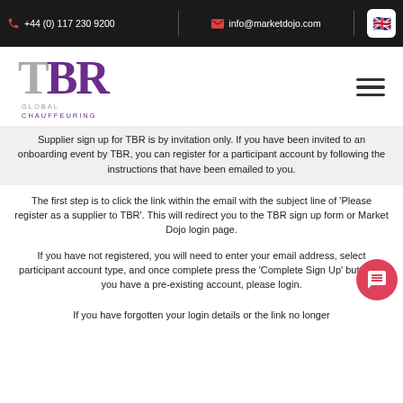+44 (0) 117 230 9200 | info@marketdojo.com
[Figure (logo): TBR Global Chauffeuring logo with stylized T and BR letters]
Supplier sign up for TBR is by invitation only. If you have been invited to an onboarding event by TBR, you can register for a participant account by following the instructions that have been emailed to you.
The first step is to click the link within the email with the subject line of 'Please register as a supplier to TBR'. This will redirect you to the TBR sign up form or Market Dojo login page.
If you have not registered, you will need to enter your email address, select participant account type, and once complete press the 'Complete Sign Up' button. If you have a pre-existing account, please login.
If you have forgotten your login details or the link no longer